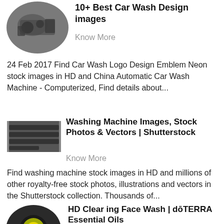[Figure (photo): Oval thumbnail showing industrial car wash machinery in gray tones]
10+ Best Car Wash Design images
Know More
24 Feb 2017 Find Car Wash Logo Design Emblem Neon stock images in HD and China Automatic Car Wash Machine - Computerized, Find details about...
[Figure (photo): Rectangle thumbnail showing a horizontal industrial washing machine component]
Washing Machine Images, Stock Photos & Vectors | Shutterstock
Know More
Find washing machine stock images in HD and millions of other royalty-free stock photos, illustrations and vectors in the Shutterstock collection. Thousands of...
[Figure (photo): Oval thumbnail showing a dark circular product with yellow/green logo center]
HD Clear ing Face Wash | dōTERRA Essential Oils